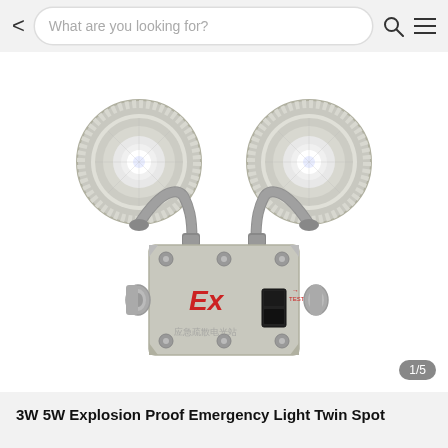< What are you looking for? [search icon] [menu icon]
[Figure (photo): Explosion proof emergency light with two circular LED spotlights mounted on flexible metallic conduit arms, attached to a rectangular grey metal junction box labeled 'Ex' with a TEST button and entry ports on the sides. Chinese text on the lower body. Industrial safety lighting product.]
3W 5W Explosion Proof Emergency Light Twin Spot